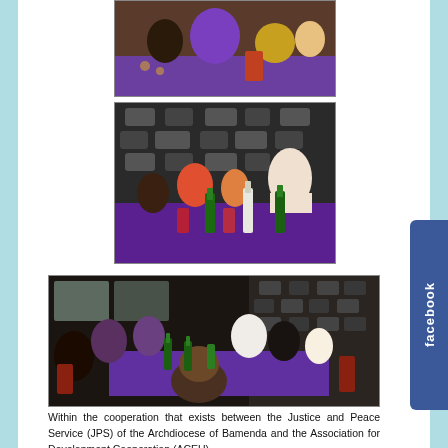[Figure (photo): Top photo: People seated around a table with purple tablecloth, indoors]
[Figure (photo): Middle photo: Group of adults and children at a table with drinks including green beer bottles and red drinks, stone wall background]
[Figure (photo): Bottom photo: Larger group of people seated around a long table with purple tablecloth and bottles, indoor restaurant setting]
Within the cooperation that exists between the Justice and Peace Service (JPS) of the Archdiocese of Bamenda and the Association for Development Cooperation (ACEU)